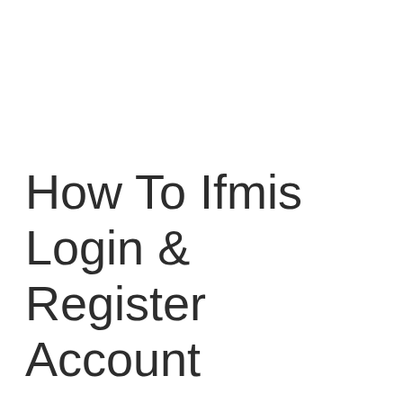How To Ifmis Login & Register Account